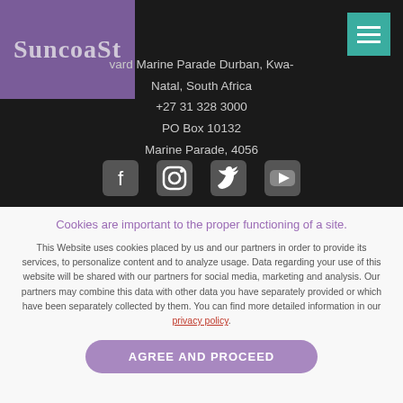[Figure (logo): Suncoast logo in purple/mauve box with stylized text]
vard Marine Parade Durban, KwaZulu-Natal, South Africa
+27 31 328 3000
PO Box 10132
Marine Parade, 4056
[Figure (infographic): Social media icons: Facebook, Instagram, Twitter, YouTube]
Cookies are important to the proper functioning of a site.
This Website uses cookies placed by us and our partners in order to provide its services, to personalize content and to analyze usage. Data regarding your use of this website will be shared with our partners for social media, marketing and analysis. Our partners may combine this data with other data you have separately provided or which have been separately collected by them. You can find more detailed information in our privacy policy.